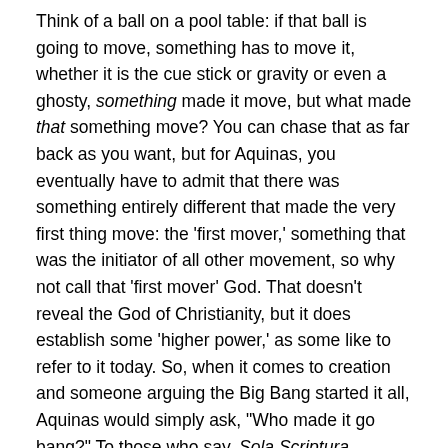Think of a ball on a pool table: if that ball is going to move, something has to move it, whether it is the cue stick or gravity or even a ghosty, something made it move, but what made that something move?  You can chase that as far back as you want, but for Aquinas, you eventually have to admit that there was something entirely different that made the very first thing move: the 'first mover,' something that was the initiator of all other movement, so why not call that 'first mover' God.  That doesn't reveal the God of Christianity, but it does establish some 'higher power,' as some like to refer to it today.  So, when it comes to creation and someone arguing the Big Bang started it all, Aquinas would simply ask, "Who made it go bang?"  To those who say, Sola Scriptura, Aquinas would say, "God gave you a brain.  Use it."  The one thing the argument of reason cannot answer is how do we go from 'higher power' to the God of Christianity.  For Aquinas, that takes one more step: revelation.